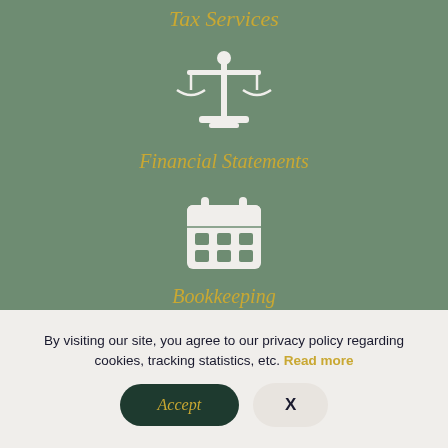Tax Services
[Figure (illustration): White scales of justice icon on green background representing Financial Statements service]
Financial Statements
[Figure (illustration): White calendar icon on green background representing Bookkeeping service]
Bookkeeping
By visiting our site, you agree to our privacy policy regarding cookies, tracking statistics, etc. Read more